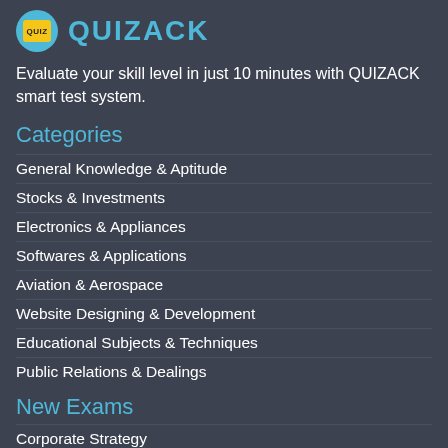QUIZACK
Evaluate your skill level in just 10 minutes with QUIZACK smart test system.
Categories
General Knowledge & Aptitude
Stocks & Investments
Electronics & Appliances
Softwares & Applications
Aviation & Aerospace
Website Designing & Development
Educational Subjects & Techniques
Public Relations & Dealings
New Exams
Corporate Strategy